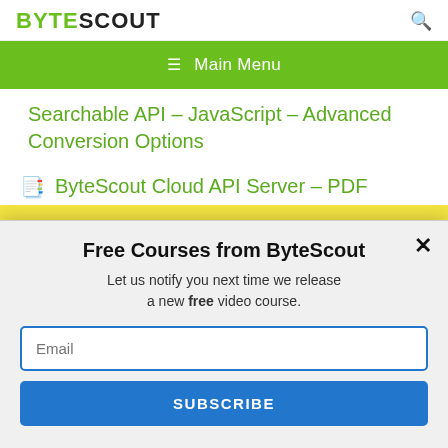BYTESCOUT
≡  Main Menu
Searchable API – JavaScript – Advanced Conversion Options
📖 ByteScout Cloud API Server – PDF
This website uses cookies. Cookies are used to personalize content, analyze traffic, provide social media features, display ads. We also share
Free Courses from ByteScout
Let us notify you next time we release a new free video course.
Email
SUBSCRIBE